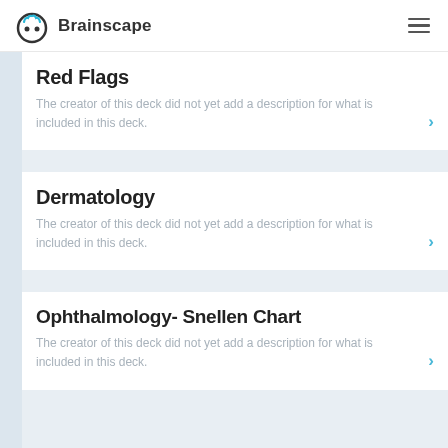Brainscape
Red Flags
The creator of this deck did not yet add a description for what is included in this deck.
Dermatology
The creator of this deck did not yet add a description for what is included in this deck.
Ophthalmology- Snellen Chart
The creator of this deck did not yet add a description for what is included in this deck.